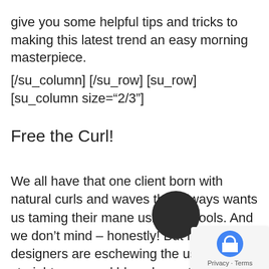give you some helpful tips and tricks to making this latest trend an easy morning masterpiece.
[/su_column] [/su_row] [su_row] [su_column size="2/3"]
Free the Curl!
We all have that one client born with natural curls and waves that always wants us taming their mane using hot tools. And we don't mind – honestly! But many designers are eschewing the use of straighteners and blow dryers this season in favor of more natural methods. Take advantage of this trend and store those hair-damaging tools under the sink for a while. Let our knowledgeable stylists help you pick the perfect texturizing spray,